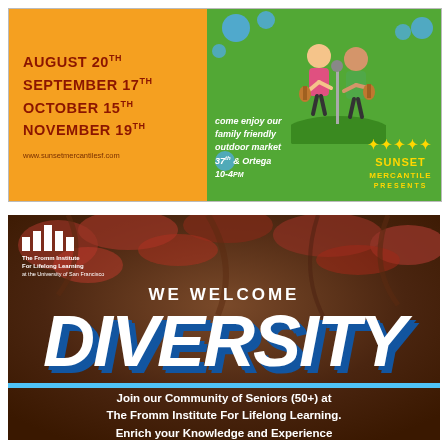[Figure (illustration): Sunset Mercantile outdoor market advertisement with orange left panel showing dates (August 20th, September 17th, October 15th, November 19th) and green right panel with cartoon musicians, bubbles, and text about family friendly outdoor market at 37th & Ortega 10-4pm]
[Figure (photo): Fromm Institute For Lifelong Learning advertisement over autumn foliage background. Text reads WE WELCOME DIVERSITY in large bold italic blue/white letters. Bottom text: Join our Community of Seniors (50+) at The Fromm Institute For Lifelong Learning. Enrich your Knowledge and Experience through Learning.]